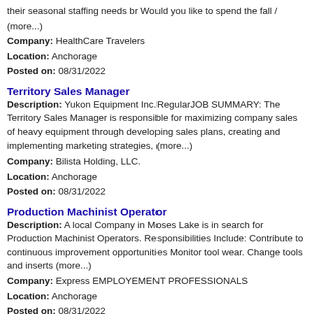their seasonal staffing needs br Would you like to spend the fall / (more...)
Company: HealthCare Travelers
Location: Anchorage
Posted on: 08/31/2022
Territory Sales Manager
Description: Yukon Equipment Inc.RegularJOB SUMMARY: The Territory Sales Manager is responsible for maximizing company sales of heavy equipment through developing sales plans, creating and implementing marketing strategies, (more...)
Company: Bilista Holding, LLC.
Location: Anchorage
Posted on: 08/31/2022
Production Machinist Operator
Description: A local Company in Moses Lake is in search for Production Machinist Operators. Responsibilities Include: Contribute to continuous improvement opportunities Monitor tool wear. Change tools and inserts (more...)
Company: Express EMPLOYEMENT PROFESSIONALS
Location: Anchorage
Posted on: 08/31/2022